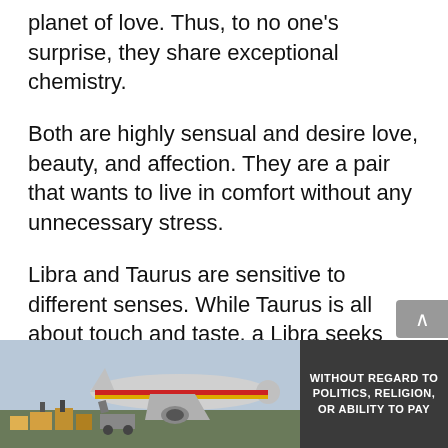planet of love. Thus, to no one's surprise, they share exceptional chemistry.
Both are highly sensual and desire love, beauty, and affection. They are a pair that wants to live in comfort without any unnecessary stress.
Libra and Taurus are sensitive to different senses. While Taurus is all about touch and taste, a Libra seeks visual pleasure and is sensitive to smell.
With their love of beauty, it's safe to assume their bedroom set is beautiful and romantic...
[Figure (photo): Advertisement showing cargo being loaded onto an airplane, with text overlay 'WITHOUT REGARD TO POLITICS, RELIGION, OR ABILITY TO PAY']